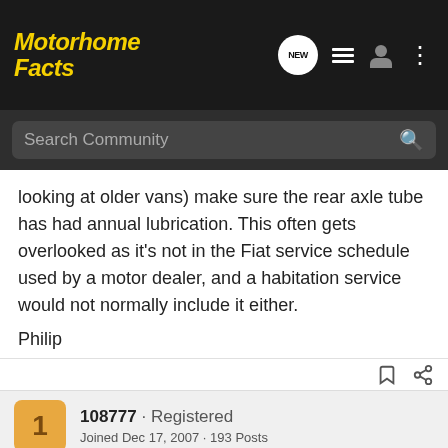Motorhome Facts
looking at older vans) make sure the rear axle tube has had annual lubrication. This often gets overlooked as it's not in the Fiat service schedule used by a motor dealer, and a habitation service would not normally include it either.
Philip
108777 · Registered
Joined Dec 17, 2007 · 193 Posts
#14 · Ma...
Hi, we h... my
[Figure (screenshot): GEICO advertisement banner: yellow and blue banner reading ENJOYMENT MADE EASY / GET STARTED / GEICO FOR YOUR RV with a motorhome image]